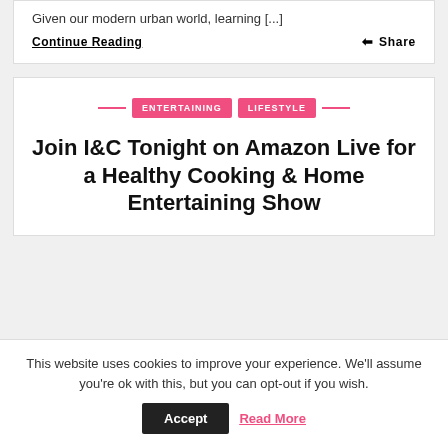Given our modern urban world, learning [...]
Continue Reading
Share
ENTERTAINING   LIFESTYLE
Join I&C Tonight on Amazon Live for a Healthy Cooking & Home Entertaining Show
This website uses cookies to improve your experience. We'll assume you're ok with this, but you can opt-out if you wish.
Accept   Read More